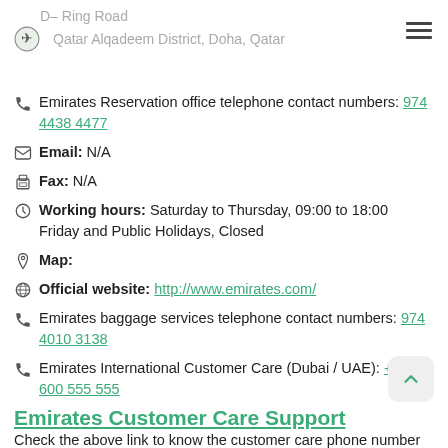D– Ring Road
Qatar Alqadeem District, Doha, Qatar
Emirates Reservation office telephone contact numbers: 974 4438 4477
Email: N/A
Fax: N/A
Working hours: Saturday to Thursday, 09:00 to 18:00 Friday and Public Holidays, Closed
Map:
Official website: http://www.emirates.com/
Emirates baggage services telephone contact numbers: 974 4010 3138
Emirates International Customer Care (Dubai / UAE): +971 600 555 555
Emirates Customer Care Support
Check the above link to know the customer care phone number